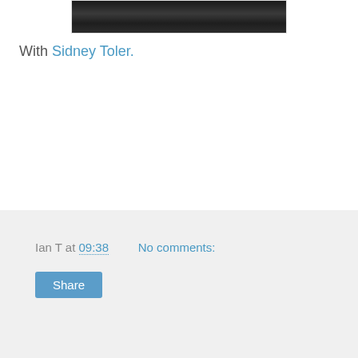[Figure (photo): Black and white photograph cropped at top of frame, partially visible]
With Sidney Toler.
Ian T at 09:38    No comments:
Share